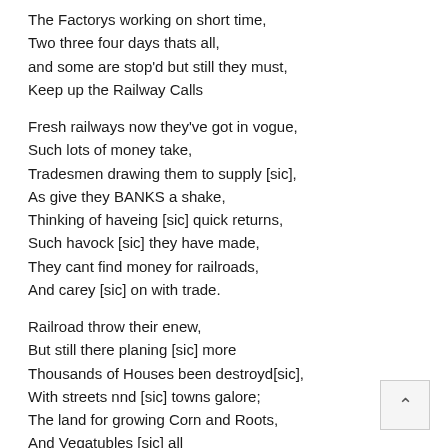The Factorys working on short time,
Two three four days thats all,
and some are stop'd but still they must,
Keep up the Railway Calls
Fresh railways now they've got in vogue,
Such lots of money take,
Tradesmen drawing them to supply [sic],
As give they BANKS a shake,
Thinking of haveing [sic] quick returns,
Such havock [sic] they have made,
They cant find money for railroads,
And carey [sic] on with trade.
Railroad throw their enew,
But still there planing [sic] more
Thousands of Houses been destroyd[sic],
With streets nnd [sic] towns galore;
The land for growing Corn and Roots,
And Vegatubles [sic] all